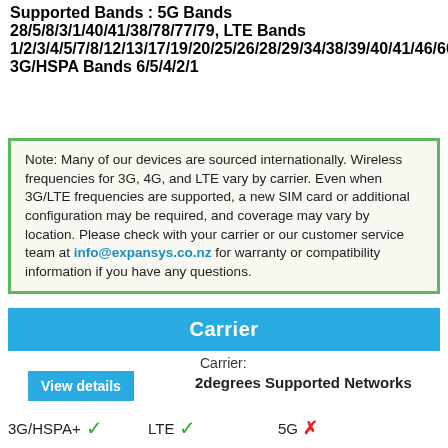Supported Bands : 5G Bands 28/5/8/3/1/40/41/38/78/77/79, LTE Bands 1/2/3/4/5/7/8/12/13/17/19/20/25/26/28/29/34/38/39/40/41/46/66, 3G/HSPA Bands 6/5/4/2/1
Note: Many of our devices are sourced internationally. Wireless frequencies for 3G, 4G, and LTE vary by carrier. Even when 3G/LTE frequencies are supported, a new SIM card or additional configuration may be required, and coverage may vary by location. Please check with your carrier or our customer service team at info@expansys.co.nz for warranty or compatibility information if you have any questions.
Carrier
Carrier: 2degrees Supported Networks
3G/HSPA+ ✓   LTE ✓   5G ✗